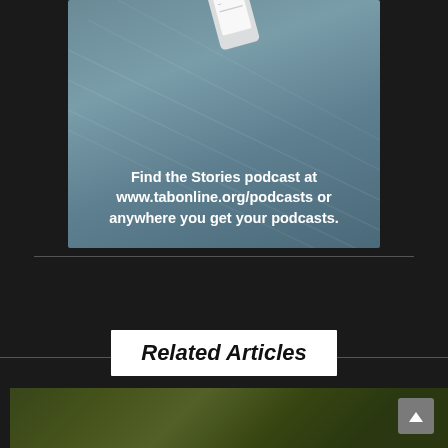[Figure (illustration): Advertisement banner with a teal/blue-grey gradient background showing a smartphone and text promoting the Stories podcast at www.tabonline.org/podcasts]
Find the Stories podcast at www.tabonline.org/podcasts or anywhere you get your podcasts.
Related Articles
[Figure (photo): Partial photo of food (appears to be a garnished dish) visible at bottom of page]